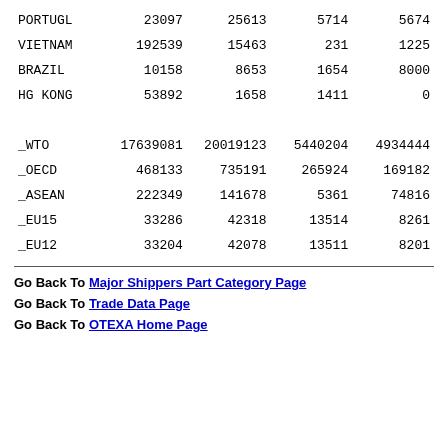| Country | Col1 | Col2 | Col3 | Col4 |
| --- | --- | --- | --- | --- |
| PORTUGL | 23097 | 25613 | 5714 | 5674 |
| VIETNAM | 192539 | 15463 | 231 | 1225 |
| BRAZIL | 10158 | 8653 | 1654 | 8000 |
| HG KONG | 53892 | 1658 | 1411 | 0 |
| _WTO | 17639081 | 20019123 | 5440204 | 4934444 |
| _OECD | 468133 | 735191 | 265924 | 169182 |
| _ASEAN | 222349 | 141678 | 5361 | 74816 |
| _EU15 | 33286 | 42318 | 13514 | 8261 |
| _EU12 | 33204 | 42078 | 13511 | 8201 |
Go Back To Major Shippers Part Category Page
Go Back To Trade Data Page
Go Back To OTEXA Home Page